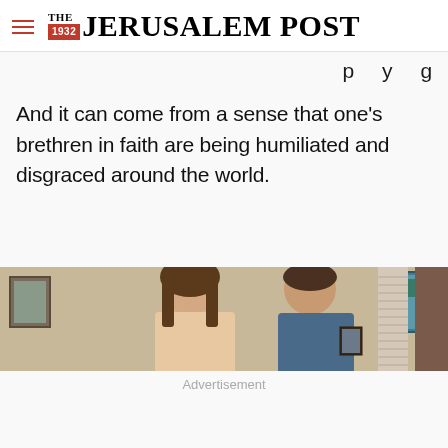THE JERUSALEM POST
p y g
And it can come from a sense that one's brethren in faith are being humiliated and disgraced around the world.
[Figure (photo): Photograph of two people (a young woman and a man) standing indoors, with framed artwork and a window with blinds visible in the background.]
Advertisement